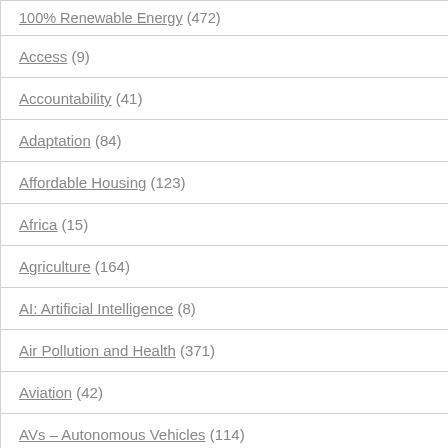100% Renewable Energy (472)
Access (9)
Accountability (41)
Adaptation (84)
Affordable Housing (123)
Africa (15)
Agriculture (164)
AI: Artificial Intelligence (8)
Air Pollution and Health (371)
Aviation (42)
AVs – Autonomous Vehicles (114)
Banks (43)